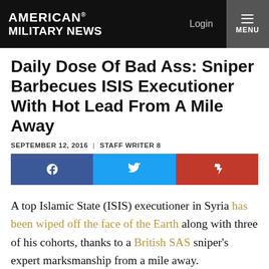AMERICAN MILITARY NEWS | Login | MENU
Daily Dose Of Bad Ass: Sniper Barbecues ISIS Executioner With Hot Lead From A Mile Away
SEPTEMBER 12, 2016  |  STAFF WRITER 8
[Figure (other): Social share buttons: Facebook (blue), Twitter (light blue), Flipboard (red)]
A top Islamic State (ISIS) executioner in Syria has been wiped off the face of the Earth along with three of his cohorts, thanks to a British SAS sniper’s expert marksmanship from a mile away.